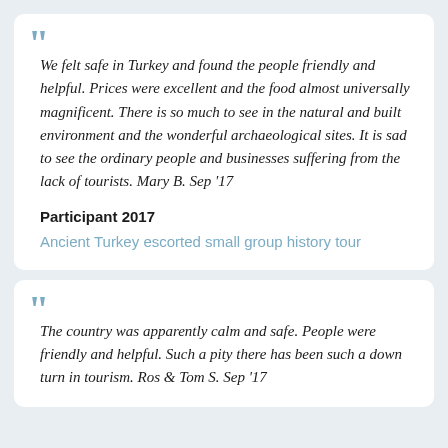We felt safe in Turkey and found the people friendly and helpful. Prices were excellent and the food almost universally magnificent. There is so much to see in the natural and built environment and the wonderful archaeological sites. It is sad to see the ordinary people and businesses suffering from the lack of tourists. Mary B. Sep '17
Participant 2017
Ancient Turkey escorted small group history tour
The country was apparently calm and safe. People were friendly and helpful. Such a pity there has been such a down turn in tourism. Ros & Tom S. Sep '17